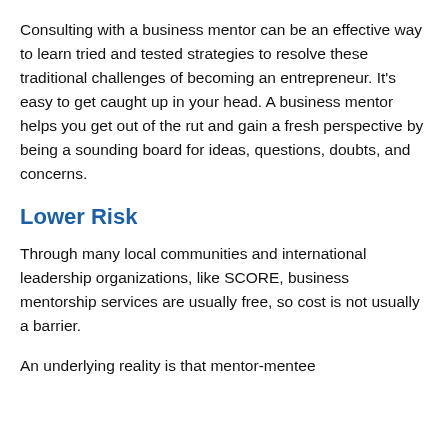Consulting with a business mentor can be an effective way to learn tried and tested strategies to resolve these traditional challenges of becoming an entrepreneur. It's easy to get caught up in your head. A business mentor helps you get out of the rut and gain a fresh perspective by being a sounding board for ideas, questions, doubts, and concerns.
Lower Risk
Through many local communities and international leadership organizations, like SCORE, business mentorship services are usually free, so cost is not usually a barrier.
An underlying reality is that mentor-mentee